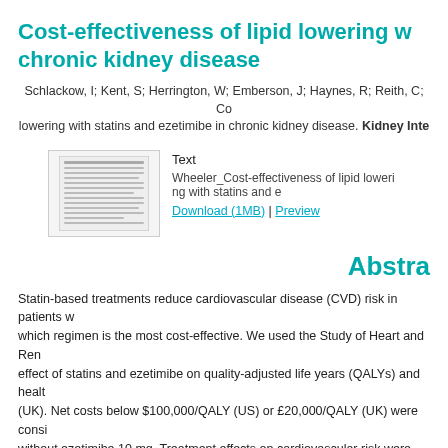Cost-effectiveness of lipid lowering with statins and ezetimibe in chronic kidney disease
Schlackow, I; Kent, S; Herrington, W; Emberson, J; Haynes, R; Reith, C; Co... lowering with statins and ezetimibe in chronic kidney disease. Kidney Inte...
[Figure (other): Thumbnail preview of PDF document]
Text
Wheeler_Cost-effectiveness of lipid lowering with statins and e...
Download (1MB) | Preview
Abstract
Statin-based treatments reduce cardiovascular disease (CVD) risk in patients w... which regimen is the most cost-effective. We used the Study of Heart and Ren... effect of statins and ezetimibe on quality-adjusted life years (QALYs) and healt... (UK). Net costs below $100,000/QALY (US) or £20,000/QALY (UK) were consi... without ezetimibe 10 mg. Treatment effects on cardiovascular risk were estima... cholesterol as reported in the Cholesterol Treatment Trialists' Collaboration me... each statin/ezetimibe regimen. In the US, atorvastatin 40 mg ($0.103/day as o... non-dialysis patients with stages 3B to 5 CKD, at a net cost of $20,300 to $78,... expectancy by an additional 0.05 to 0.07 QALYs, at a net cost of $43,600 to $9... in the UK were similar. In summary, in patients with non-dialysis-dependent CK...